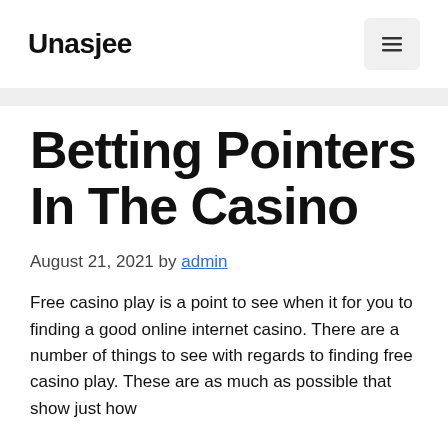Unasjee
Betting Pointers In The Casino
August 21, 2021 by admin
Free casino play is a point to see when it for you to finding a good online internet casino. There are a number of things to see with regards to finding free casino play. These are as much as possible that show just how